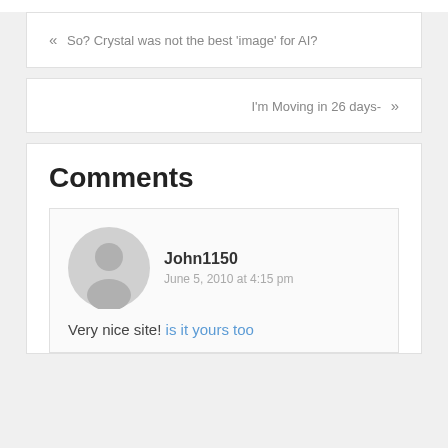« So? Crystal was not the best 'image' for AI?
I'm Moving in 26 days- »
Comments
John1150
June 5, 2010 at 4:15 pm
Very nice site! is it yours too